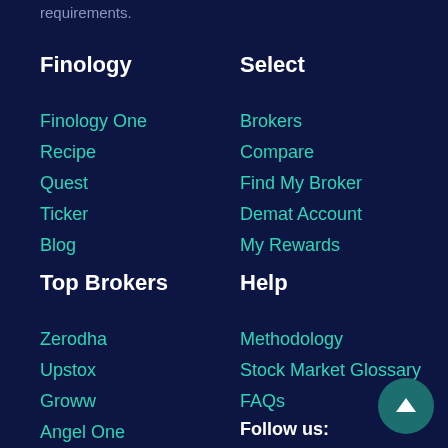requirements.
Finology
Finology One
Recipe
Quest
Ticker
Blog
Select
Brokers
Compare
Find My Broker
Demat Account
My Rewards
Top Brokers
Zerodha
Upstox
Groww
Angel One
Help
Methodology
Stock Market Glossary
FAQs
Follow us: